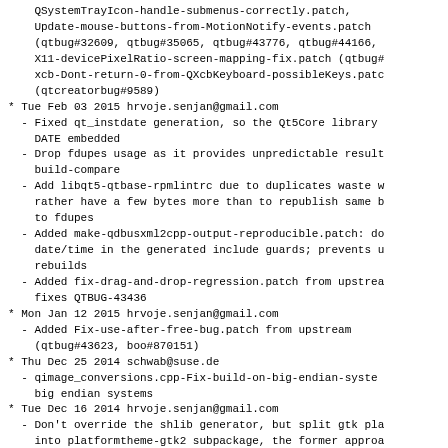QSystemTrayIcon-handle-submenus-correctly.patch,
    Update-mouse-buttons-from-MotionNotify-events.patch
    (qtbug#32609, qtbug#35065, qtbug#43776, qtbug#44166,
    X11-devicePixelRatio-screen-mapping-fix.patch (qtbug#
    xcb-Dont-return-0-from-QXcbKeyboard-possibleKeys.patc
    (qtcreatorbug#9589)
* Tue Feb 03 2015 hrvoje.senjan@gmail.com
    - Fixed qt_instdate generation, so the Qt5Core library
      DATE embedded
    - Drop fdupes usage as it provides unpredictable result
      build-compare
    - Add libqt5-qtbase-rpmlintrc due to duplicates waste w
      rather have a few bytes more than to republish same b
      to fdupes
    - Added make-qdbusxml2cpp-output-reproducible.patch: do
      date/time in the generated include guards; prevents u
      rebuilds
    - Added fix-drag-and-drop-regression.patch from upstrea
      fixes QTBUG-43436
* Mon Jan 12 2015 hrvoje.senjan@gmail.com
    - Added Fix-use-after-free-bug.patch from upstream
      (qtbug#43623, boo#870151)
* Thu Dec 25 2014 schwab@suse.de
    - qimage_conversions.cpp-Fix-build-on-big-endian-syste
      big endian systems
* Tue Dec 16 2014 hrvoje.senjan@gmail.com
    - Don't override the shlib generator, but split gtk pla
      into platformtheme-gtk2 subpackage, the former approa
      problems with other dependant packages
* Wed Dec 10 2014 hrvoje.senjan@gmail.com